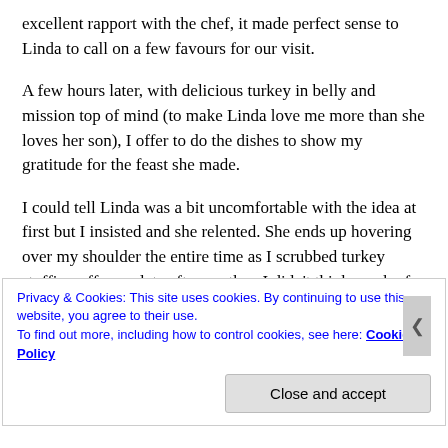excellent rapport with the chef, it made perfect sense to Linda to call on a few favours for our visit.
A few hours later, with delicious turkey in belly and mission top of mind (to make Linda love me more than she loves her son), I offer to do the dishes to show my gratitude for the feast she made.
I could tell Linda was a bit uncomfortable with the idea at first but I insisted and she relented. She ends up hovering over my shoulder the entire time as I scrubbed turkey stuffing off one plate after another. I didn’t think much of it, chalking it up to the almost obligatory polite
Privacy & Cookies: This site uses cookies. By continuing to use this website, you agree to their use. To find out more, including how to control cookies, see here: Cookie Policy
Close and accept